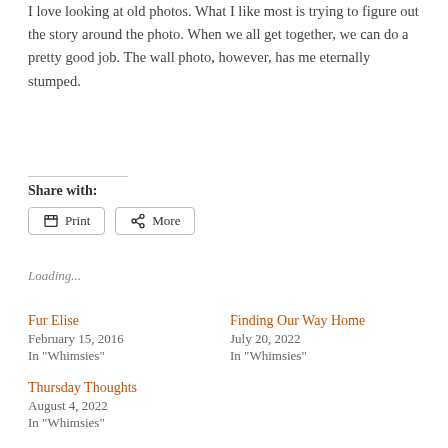I love looking at old photos. What I like most is trying to figure out the story around the photo. When we all get together, we can do a pretty good job. The wall photo, however, has me eternally stumped.
Share with:
Print | More
Loading...
Fur Elise
February 15, 2016
In "Whimsies"
Finding Our Way Home
July 20, 2022
In "Whimsies"
Thursday Thoughts
August 4, 2022
In "Whimsies"